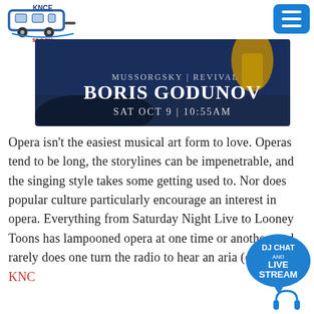[Figure (logo): KNCE 93.5 FM radio station logo with trailer/RV graphic]
[Figure (photo): Boris Godunov opera promotional banner. Text reads: MUSSORGSKY | REVIVAL, BORIS GODUNOV, SAT OCT 9 | 10:55AM. Dark blue/night background with a figure in golden costume.]
Opera isn't the easiest musical art form to love. Operas tend to be long, the storylines can be impenetrable, and the singing style takes some getting used to. Nor does popular culture particularly encourage an interest in opera. Everything from Saturday Night Live to Looney Toons has lampooned opera at one time or another, and rarely does one turn the radio to hear an aria (except on KNCE, of course)
[Figure (other): Blue speech bubble with text: DJ CHAT AND LIVE STREAM]